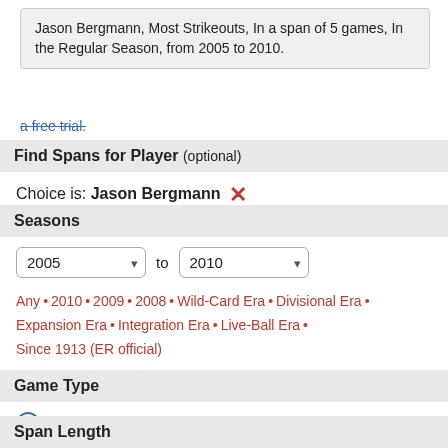Jason Bergmann, Most Strikeouts, In a span of 5 games, In the Regular Season, from 2005 to 2010.
a free trial.
Find Spans for Player (optional)
Choice is: Jason Bergmann ✕
Seasons
2005 to 2010
Any • 2010 • 2009 • 2008 • Wild-Card Era • Divisional Era • Expansion Era • Integration Era • Live-Ball Era • Since 1913 (ER official)
Game Type
Regular Season
All-Star Game
Postseason
Span Length